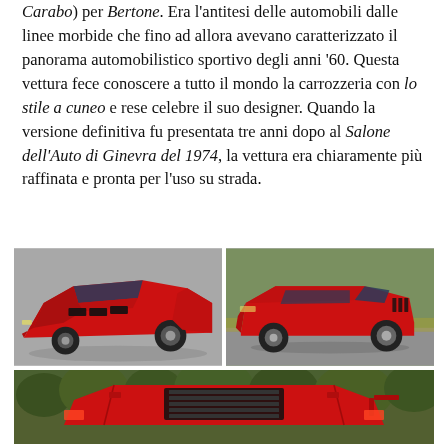Carabo) per Bertone. Era l'antitesi delle automobili dalle linee morbide che fino ad allora avevano caratterizzato il panorama automobilistico sportivo degli anni '60. Questa vettura fece conoscere a tutto il mondo la carrozzeria con lo stile a cuneo e rese celebre il suo designer. Quando la versione definitiva fu presentata tre anni dopo al Salone dell'Auto di Ginevra del 1974, la vettura era chiaramente più raffinata e pronta per l'uso su strada.
[Figure (photo): Top-left: Red Lamborghini Countach LP400 prototype seen from a three-quarter front-left angle against a grey background, showing its iconic wedge shape and black NACA duct side vents.]
[Figure (photo): Top-right: Red Lamborghini Countach seen from a three-quarter front-right angle on a road with greenery in the background.]
[Figure (photo): Bottom: Close-up top-rear view of a red Lamborghini Countach showing the engine cover louvers and rear bodywork with trees in the background.]